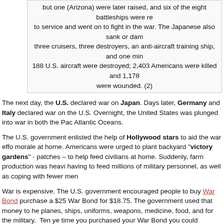...but one (Arizona) were later raised, and six of the eight battleships were returned to service and went on to fight in the war. The Japanese also sank or damaged three cruisers, three destroyers, an anti-aircraft training ship, and one minelayer. 188 U.S. aircraft were destroyed; 2,403 Americans were killed and 1,178 were wounded. (2)
The next day, the U.S. declared war on Japan. Days later, Germany and Italy declared war on the U.S. Overnight, the United States was plunged into war in both the Pacific and Atlantic Oceans.
The U.S. government enlisted the help of Hollywood stars to aid the war effort and boost morale at home. Americans were urged to plant backyard "victory gardens" - vegetable patches – to help feed civilians at home. Suddenly, farm production was heavily taxed by having to feed millions of military personnel, as well as coping with fewer men to work farms.
War is expensive. The U.S. government encouraged people to buy War Bonds. You could purchase a $25 War Bond for $18.75. The government used that money to help pay for planes, ships, uniforms, weapons, medicine, food, and for the military.  Ten years from the time you purchased your War Bond you could redeem it and get $25.
Gene Tierney did her part for the war effort, whether it was planting a "victory garden", promoting war bonds, or entertaining the troops.
[Figure (photo): Black and white photograph of Gene Tierney with a red border frame]